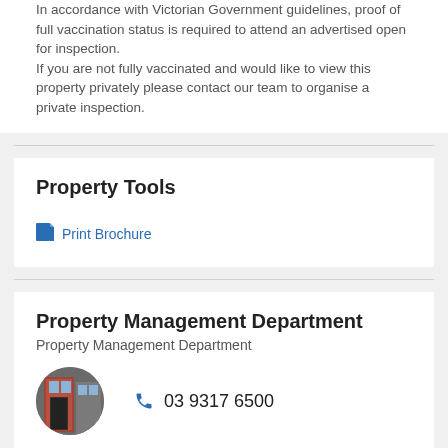In accordance with Victorian Government guidelines, proof of full vaccination status is required to attend an advertised open for inspection. If you are not fully vaccinated and would like to view this property privately please contact our team to organise a private inspection.
Property Tools
Print Brochure
Property Management Department
Property Management Department
03 9317 6500